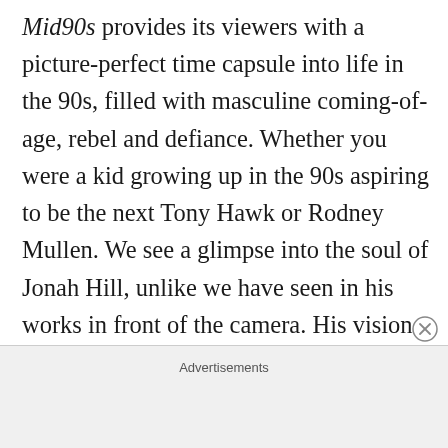Mid90s provides its viewers with a picture-perfect time capsule into life in the 90s, filled with masculine coming-of-age, rebel and defiance. Whether you were a kid growing up in the 90s aspiring to be the next Tony Hawk or Rodney Mullen. We see a glimpse into the soul of Jonah Hill, unlike we have seen in his works in front of the camera. His vision was clearly expressed through his work behind the camera, but in the very real depictions by his diverse cast of characters. As a kid who grew up in the 90s,
Advertisements